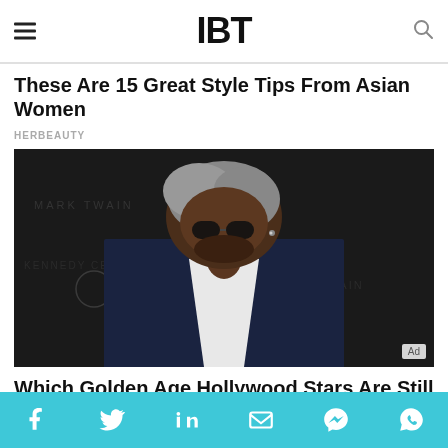IBT
These Are 15 Great Style Tips From Asian Women
HERBEAUTY
[Figure (photo): Man in dark suit with grey hair and sunglasses looking down, photographed at a formal event in front of a branded backdrop]
Which Golden Age Hollywood Stars Are Still Alive?
Social share icons: Facebook, Twitter, LinkedIn, Email, Messenger, WhatsApp